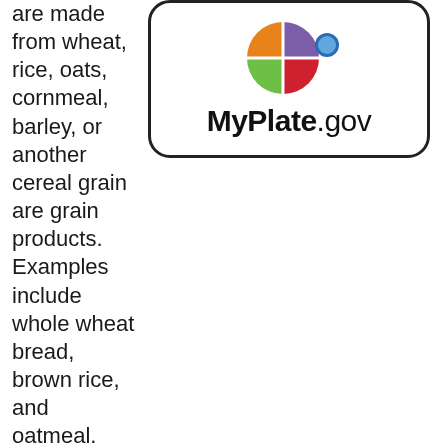[Figure (logo): MyPlate.gov logo — a divided circle plate icon (orange, green, red, purple quadrants with a blue circle for dairy) above the text MyPlate.gov in a rounded rectangle border]
are made from wheat, rice, oats, cornmeal, barley, or another cereal grain are grain products. Examples include whole wheat bread, brown rice, and oatmeal. Aim for mostly whole grains.